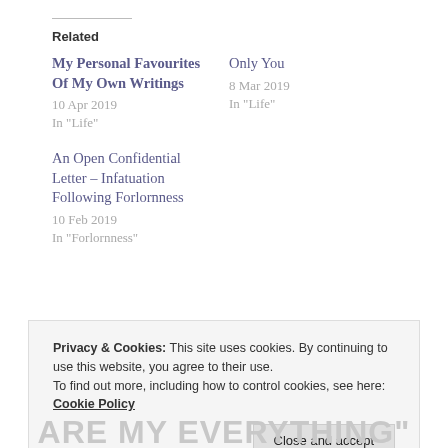Related
My Personal Favourites Of My Own Writings
10 Apr 2019
In "Life"
Only You
8 Mar 2019
In "Life"
An Open Confidential Letter – Infatuation Following Forlornness
10 Feb 2019
In "Forlornness"
Privacy & Cookies: This site uses cookies. By continuing to use this website, you agree to their use.
To find out more, including how to control cookies, see here: Cookie Policy
Close and accept
ARE MY EVERYTHING"